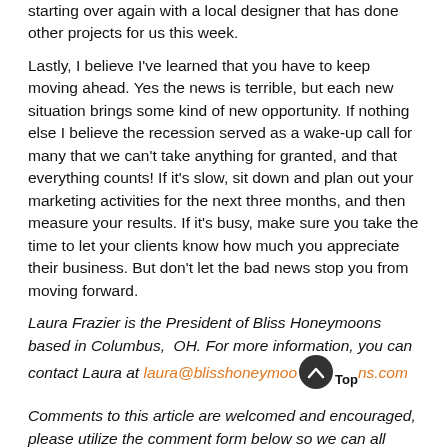starting over again with a local designer that has done other projects for us this week.
Lastly, I believe I've learned that you have to keep moving ahead. Yes the news is terrible, but each new situation brings some kind of new opportunity. If nothing else I believe the recession served as a wake-up call for many that we can't take anything for granted, and that everything counts! If it's slow, sit down and plan out your marketing activities for the next three months, and then measure your results. If it's busy, make sure you take the time to let your clients know how much you appreciate their business. But don't let the bad news stop you from moving forward.
Laura Frazier is the President of Bliss Honeymoons based in Columbus,  OH. For more information, you can contact Laura at laura@blisshoneymoons.com
Comments to this article are welcomed and encouraged, please utilize the comment form below so we can all learn and interact with each other!